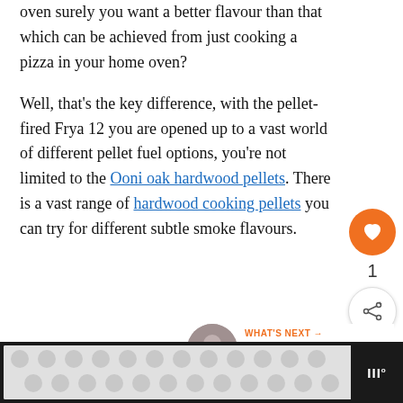making your own pizza and owning a dedicated pizza oven surely you want a better flavour than that which can be achieved from just cooking a pizza in your home oven?
Well, that's the key difference, with the pellet-fired Frya 12 you are opened up to a vast world of different pellet fuel options, you're not limited to the Ooni oak hardwood pellets. There is a vast range of hardwood cooking pellets you can try for different subtle smoke flavours.
[Figure (other): What's Next widget showing a thumbnail image and text 'Ceramic Pellet Grills - The...']
[Figure (other): Advertisement banner at the bottom with dark background, patterned ad creative and logo]